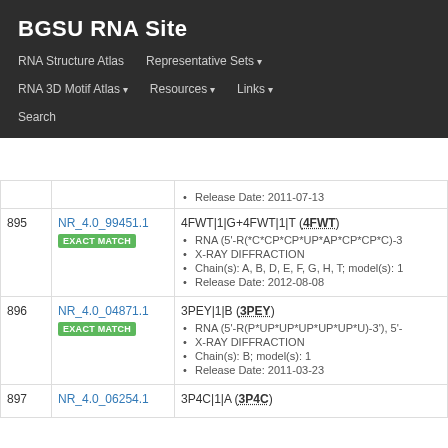BGSU RNA Site
RNA Structure Atlas | Representative Sets ▾ | RNA 3D Motif Atlas ▾ | Resources ▾ | Links ▾ | Search
| # | ID | Entry |
| --- | --- | --- |
|  |  | Release Date: 2011-07-13 |
| 895 | NR_4.0_99451.1 EXACT MATCH | 4FWT|1|G+4FWT|1|T (4FWT)
• RNA (5'-R(*C*CP*CP*UP*AP*CP*CP*C)-3
• X-RAY DIFFRACTION
• Chain(s): A, B, D, E, F, G, H, T; model(s): 1
• Release Date: 2012-08-08 |
| 896 | NR_4.0_04871.1 EXACT MATCH | 3PEY|1|B (3PEY)
• RNA (5'-R(P*UP*UP*UP*UP*UP*U)-3'), 5'-
• X-RAY DIFFRACTION
• Chain(s): B; model(s): 1
• Release Date: 2011-03-23 |
| 897 | NR_4.0_06254.1 | 3P4C|1|A (3P4C) |